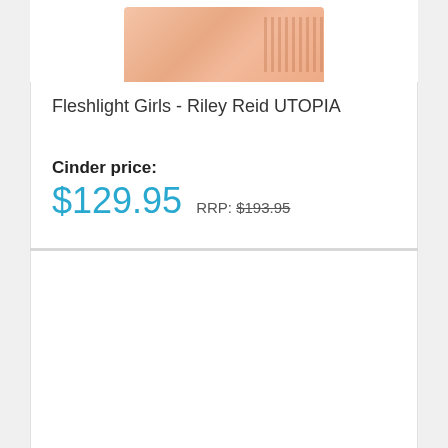[Figure (photo): Product image of Fleshlight Girls Riley Reid UTOPIA, showing a peach/skin-toned textured product]
Fleshlight Girls - Riley Reid UTOPIA
Cinder price:
$129.95  RRP: $193.95